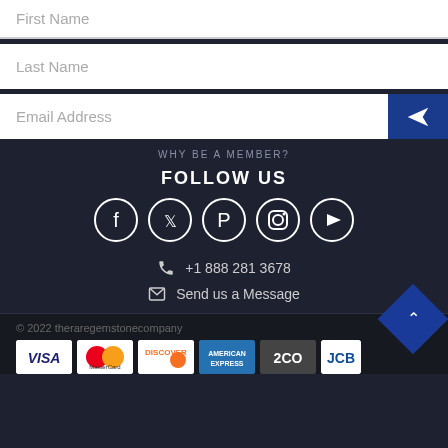First Name
Last Name
Email Address
WHY BE A MEMBER?
FOLLOW US
[Figure (infographic): Social media icons: Facebook, Twitter, Pinterest, Instagram, YouTube - white circle outlines on dark background]
+1 888 281 3678
Send us a Message
© 2022 theraregemstonecompany
[Figure (infographic): Payment method logos: VISA, MasterCard, DISCOVER, AMERICAN EXPRESS, 2CO, JCB]